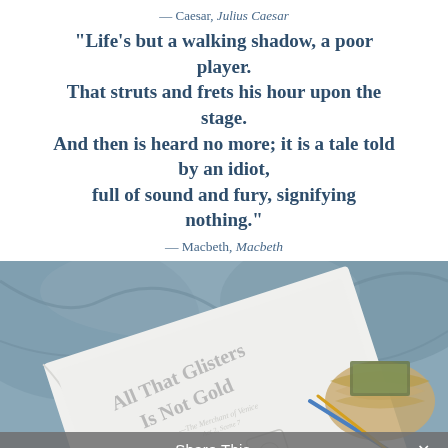— Caesar, Julius Caesar
“Life’s but a walking shadow, a poor player.
That struts and frets his hour upon the stage.
And then is heard no more; it is a tale told by an idiot,
full of sound and fury, signifying nothing.”
— Macbeth, Macbeth
[Figure (photo): Open book showing decorative text 'All That Glisters Is Not Gold' with ornamental designs, resting on blue-gray fabric near a woven basket.]
Share This ∨